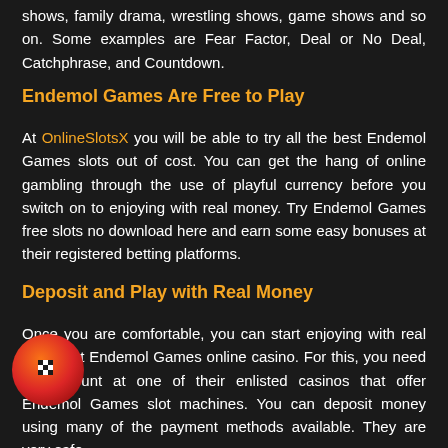shows, family drama, wrestling shows, game shows and so on. Some examples are Fear Factor, Deal or No Deal, Catchphrase, and Countdown.
Endemol Games Are Free to Play
At OnlineSlotsX you will be able to try all the best Endemol Games slots out of cost. You can get the hang of online gambling through the use of playful currency before you switch on to enjoying with real money. Try Endemol Games free slots no download here and earn some easy bonuses at their registered betting platforms.
Deposit and Play with Real Money
Once you are comfortable, you can start enjoying with real money at Endemol Games online casino. For this, you need an account at one of their enlisted casinos that offer Endemol Games slot machines. You can deposit money using many of the payment methods available. They are very safe